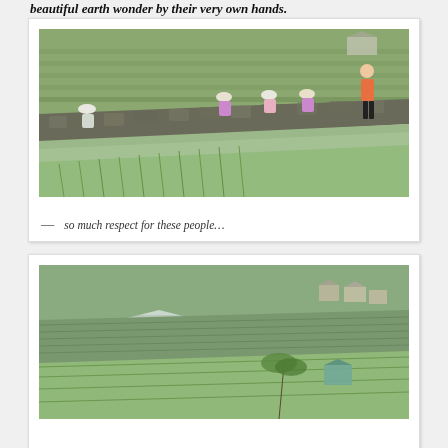beautiful earth wonder by their very own hands.
[Figure (photo): People planting rice in terraced rice paddies. Several figures bent over working in flooded terrace fields with stone walls. Green rice shoots visible in water. Mountains and terraces in background. One person in orange top standing to the right.]
— so much respect for these people…
[Figure (photo): Wide view of Banaue rice terraces with village buildings visible, lush green terraced hillsides, palm trees, overcast sky.]